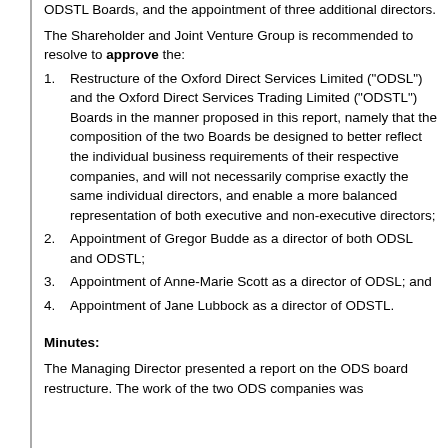ODSTL Boards, and the appointment of three additional directors.
The Shareholder and Joint Venture Group is recommended to resolve to approve the:
Restructure of the Oxford Direct Services Limited (“ODSL”) and the Oxford Direct Services Trading Limited (“ODSTL”) Boards in the manner proposed in this report, namely that the composition of the two Boards be designed to better reflect the individual business requirements of their respective companies, and will not necessarily comprise exactly the same individual directors, and enable a more balanced representation of both executive and non-executive directors;
Appointment of Gregor Budde as a director of both ODSL and ODSTL;
Appointment of Anne-Marie Scott as a director of ODSL; and
Appointment of Jane Lubbock as a director of ODSTL.
Minutes:
The Managing Director presented a report on the ODS board restructure. The work of the two ODS companies was